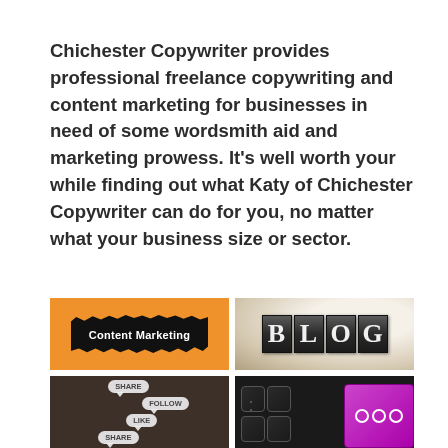Chichester Copywriter provides professional freelance copywriting and content marketing for businesses in need of some wordsmith aid and marketing prowess. It's well worth your while finding out what Katy of Chichester Copywriter can do for you, no matter what your business size or sector.
[Figure (photo): Orange background with torn black paper revealing 'Content Marketing' text in white]
[Figure (photo): BLOG text made of metallic letterpress blocks on a blurred bokeh background]
[Figure (photo): Social media speech bubbles with SHARE, FOLLOW, LIKE, SHARE text on a dark wooden background]
[Figure (photo): Dark keyboard keys with a bright purple/magenta key in the corner showing social media icon]